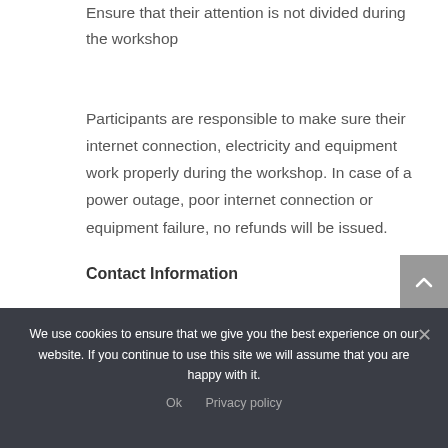Ensure that their attention is not divided during the workshop
Participants are responsible to make sure their internet connection, electricity and equipment work properly during the workshop. In case of a power outage, poor internet connection or equipment failure, no refunds will be issued.
Contact Information
We use cookies to ensure that we give you the best experience on our website. If you continue to use this site we will assume that you are happy with it.
Ok   Privacy policy